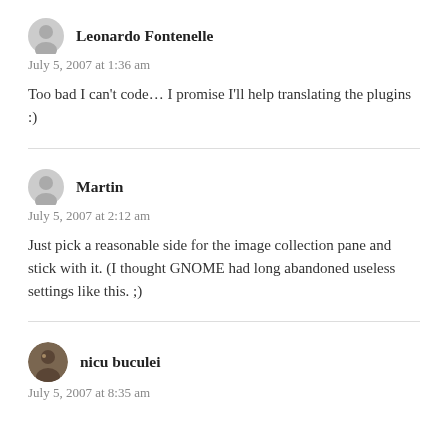Leonardo Fontenelle
July 5, 2007 at 1:36 am
Too bad I can't code… I promise I'll help translating the plugins :)
Martin
July 5, 2007 at 2:12 am
Just pick a reasonable side for the image collection pane and stick with it. (I thought GNOME had long abandoned useless settings like this. ;)
nicu buculei
July 5, 2007 at 8:35 am